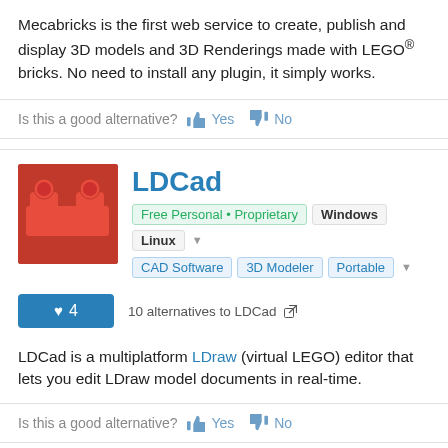Mecabricks is the first web service to create, publish and display 3D models and 3D Renderings made with LEGO® bricks. No need to install any plugin, it simply works.
Is this a good alternative? Yes No
LDCad
Free Personal • Proprietary  Windows  Linux  CAD Software  3D Modeler  Portable
10 alternatives to LDCad
LDCad is a multiplatform LDraw (virtual LEGO) editor that lets you edit LDraw model documents in real-time.
Is this a good alternative? Yes No